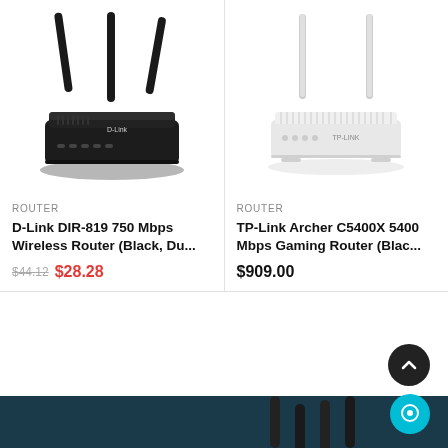[Figure (photo): D-Link DIR-819 black wireless router with 3 antennas]
ROUTER
D-Link DIR-819 750 Mbps Wireless Router (Black, Du...
$44.12 $28.28
[Figure (photo): TP-Link white wireless router with 2 antennas]
ROUTER
TP-Link Archer C5400X 5400 Mbps Gaming Router (Blac...
$909.00
[Figure (photo): Dark teal footer section with router antennas visible]